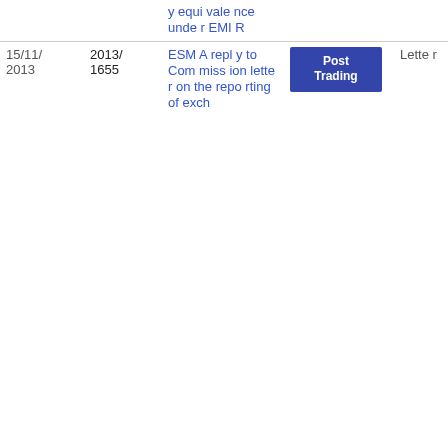| Date | Reference | Title | Category | Type | PDF |
| --- | --- | --- | --- | --- | --- |
|  |  | y equivalence under EMIR |  |  |  |
| 15/11/2013 | 2013/1655 | ESMA reply to Commission letter on the reporting of exch... | Post Trading | Letter | PDF 42.73 KB |